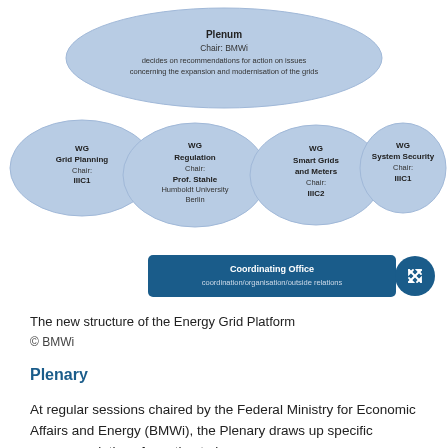[Figure (organizational-chart): Organizational chart of the Energy Grid Platform showing: top ellipse 'Plenum, Chair: BMWi, decides on recommendations for action on issues concerning the expansion and modernisation of the grids'; four sub-ellipses: 'WG Grid Planning Chair: IIIC1', 'WG Regulation Chair: Prof. Stahle Humboldt University Berlin', 'WG Smart Grids and Meters Chair: IIIC2', 'WG System Security Chair: IIIC1'; and a blue rectangle 'Coordinating Office coordination/organisation/outside relations', plus a blue circular expand icon.]
The new structure of the Energy Grid Platform
© BMWi
Plenary
At regular sessions chaired by the Federal Ministry for Economic Affairs and Energy (BMWi), the Plenary draws up specific recommendations for action to be